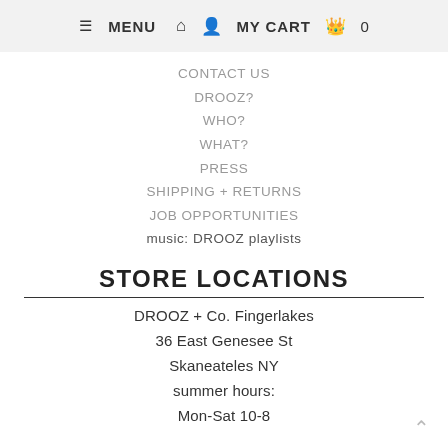≡ MENU  🏠  👤  MY CART  🛍  0
CONTACT US
DROOZ?
WHO?
WHAT?
PRESS
SHIPPING + RETURNS
JOB OPPORTUNITIES
music: DROOZ playlists
STORE LOCATIONS
DROOZ + Co. Fingerlakes
36 East Genesee St
Skaneateles NY
summer hours:
Mon-Sat 10-8